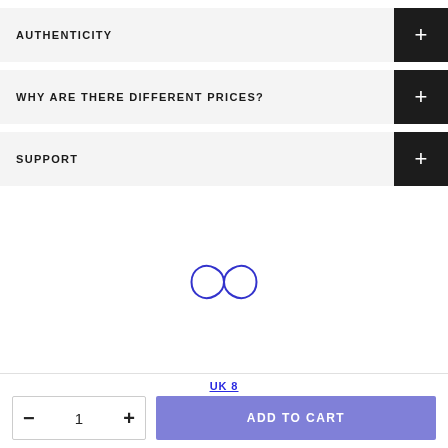AUTHENTICITY
WHY ARE THERE DIFFERENT PRICES?
SUPPORT
[Figure (logo): Infinity loop / lemniscate logo mark in blue outline]
[Figure (logo): Partial infinity loop logo mark in blue outline, cropped at bottom]
UK 8
1
ADD TO CART